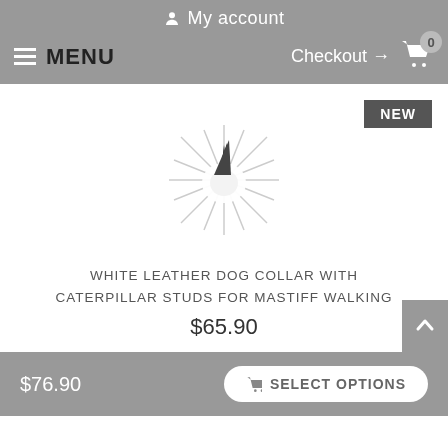My account
MENU  Checkout → 0
[Figure (screenshot): Product image placeholder - starburst/explosion graphic on white background with NEW badge]
WHITE LEATHER DOG COLLAR WITH CATERPILLAR STUDS FOR MASTIFF WALKING
$65.90
$76.90  SELECT OPTIONS